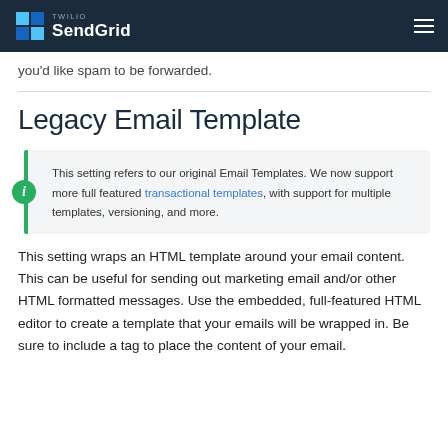Twilio SendGrid
you'd like spam to be forwarded.
Legacy Email Template
This setting refers to our original Email Templates. We now support more full featured transactional templates, with support for multiple templates, versioning, and more.
This setting wraps an HTML template around your email content. This can be useful for sending out marketing email and/or other HTML formatted messages. Use the embedded, full-featured HTML editor to create a template that your emails will be wrapped in. Be sure to include a tag to place the content of your email.